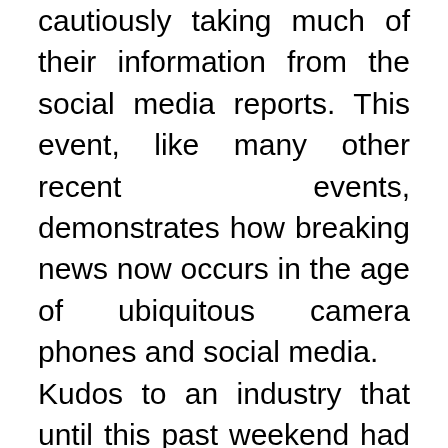A began reporting on the event, cautiously taking much of their information from the social media reports. This event, like many other recent events, demonstrates how breaking news now occurs in the age of ubiquitous camera phones and social media. Kudos to an industry that until this past weekend had logged only one commercial fatality since 2001. Sadly, two young Chinese students perished in this crash and dozens of other passengers sustained injuries, some quite serious and potentially life-threatening, and the industry...